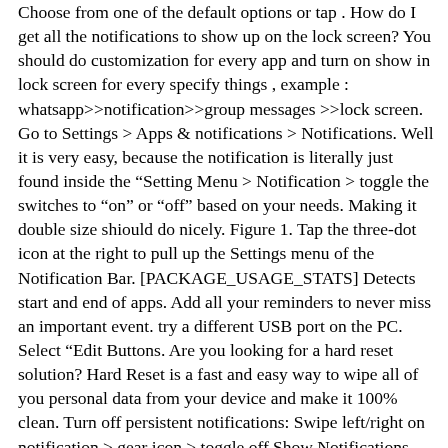Choose from one of the default options or tap . How do I get all the notifications to show up on the lock screen? You should do customization for every app and turn on show in lock screen for every specify things , example : whatsapp>>notification>>group messages >>lock screen. Go to Settings > Apps & notifications > Notifications. Well it is very easy, because the notification is literally just found inside the “Setting Menu > Notification > toggle the switches to “on” or “off” based on your needs. Making it double size shiould do nicely. Figure 1. Tap the three-dot icon at the right to pull up the Settings menu of the Notification Bar. [PACKAGE_USAGE_STATS] Detects start and end of apps. Add all your reminders to never miss an important event. try a different USB port on the PC. Select “Edit Buttons. Are you looking for a hard reset solution? Hard Reset is a fast and easy way to wipe all of you personal data from your device and make it 100% clean. Turn off persistent notifications: Swipe left/right on notification > gear icon > toggle off Show Notifications. The top section is “Available Buttons,” these are not currently in the Quick Settings panel. Make sure Show notification . Choose your settings: To turn off all notifications, turn off All notifications . indicator on the status bar. Now a list with different ringtones will appear. If you chose “Silent,” you can turn Minimize on or off. This will show system apps and apps installed from the Play Store in the list. answered Aug 14, 2012 at 5:57. Android Status Bar shows time in the top left corner, network signal towards the top right corner, and